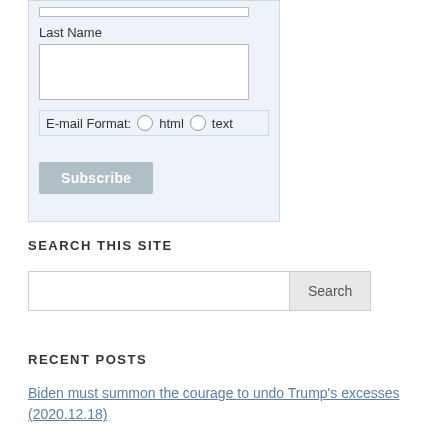Last Name
E-mail Format:   html   text
SEARCH THIS SITE
RECENT POSTS
Biden must summon the courage to undo Trump's excesses (2020.12.18)